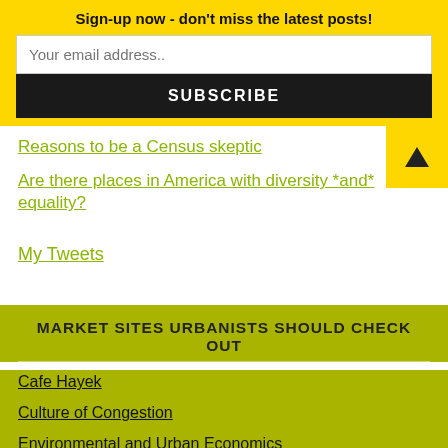Sign-up now - don't miss the latest posts!
Your email address..
SUBSCRIBE
Reasons to be a Census skeptic
Are there places in America with diversity *and* equality?
My Tweets
MARKET SITES URBANISTS SHOULD CHECK OUT
Cafe Hayek
Culture of Congestion
Environmental and Urban Economics